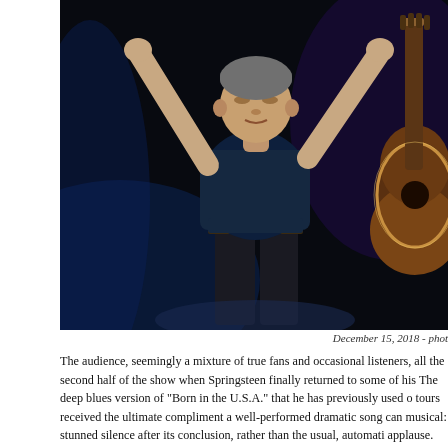[Figure (photo): A man on stage with both arms raised, wearing a navy blue t-shirt and dark jeans with a belt, holding or near an acoustic guitar (partially visible on the right). The stage has dark and blue-purple lighting in the background.]
December 15, 2018 - phot
The audience, seemingly a mixture of true fans and occasional listeners, all the second half of the show when Springsteen finally returned to some of his The deep blues version of "Born in the U.S.A." that he has previously used o tours received the ultimate compliment a well-performed dramatic song can musical: stunned silence after its conclusion, rather than the usual, automati applause. After that, the crowd exhaled when he slid into "Tenth Avenue Fre